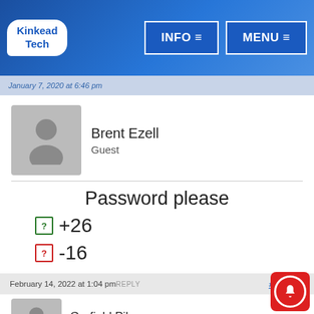Kinkead Tech | INFO ≡ | MENU ≡
January 7, 2020 at 6:46 pm
Brent Ezell
Guest
Password please
+26
-16
February 14, 2022 at 1:04 pmREPLY
#202382
Garfield Pike
Guest